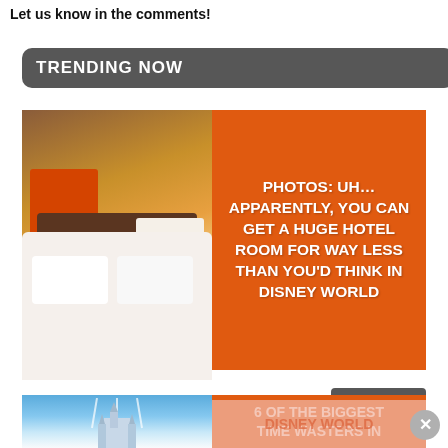Let us know in the comments!
TRENDING NOW
[Figure (photo): Hotel room with two white beds, colorful headboard with music notes art and red/orange wall art, warm lighting]
[Figure (infographic): Orange box with white bold text: PHOTOS: UH... APPARENTLY, YOU CAN GET A HUGE HOTEL ROOM FOR WAY LESS THAN YOU'D THINK IN DISNEY WORLD]
read more
[Figure (photo): Blue sky with Cinderella Castle and firework jets, Disney World]
[Figure (infographic): Orange box with white bold text: 6 OF THE BIGGEST TIME WASTERS IN DISNEY WORLD]